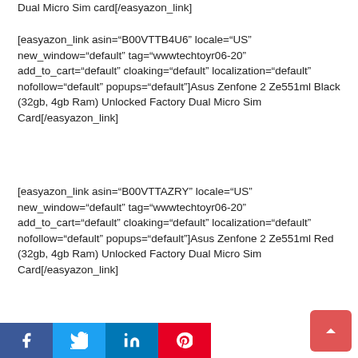Dual Micro Sim card[/easyazon_link]
[easyazon_link asin="B00VTTB4U6" locale="US" new_window="default" tag="wwwtechtoyr06-20" add_to_cart="default" cloaking="default" localization="default" nofollow="default" popups="default"]Asus Zenfone 2 Ze551ml Black (32gb, 4gb Ram) Unlocked Factory Dual Micro Sim Card[/easyazon_link]
[easyazon_link asin="B00VTTAZRY" locale="US" new_window="default" tag="wwwtechtoyr06-20" add_to_cart="default" cloaking="default" localization="default" nofollow="default" popups="default"]Asus Zenfone 2 Ze551ml Red (32gb, 4gb Ram) Unlocked Factory Dual Micro Sim Card[/easyazon_link]